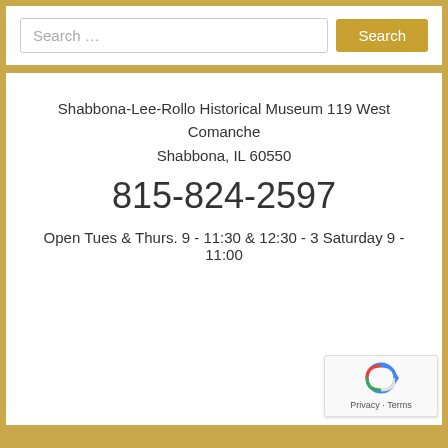Search …
Search
Shabbona-Lee-Rollo Historical Museum 119 West Comanche Shabbona, IL 60550
815-824-2597
Open Tues & Thurs. 9 - 11:30 & 12:30 - 3 Saturday 9 - 11:00